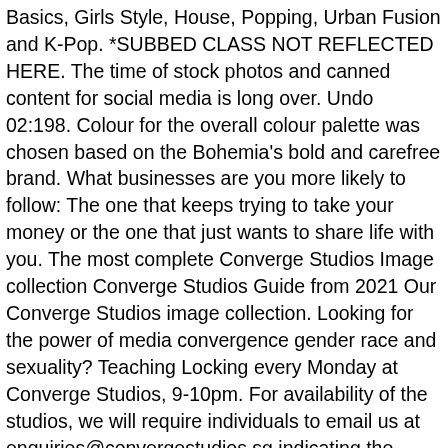Basics, Girls Style, House, Popping, Urban Fusion and K-Pop. *SUBBED CLASS NOT REFLECTED HERE. The time of stock photos and canned content for social media is long over. Undo 02:198. Colour for the overall colour palette was chosen based on the Bohemia's bold and carefree brand. What businesses are you more likely to follow: The one that keeps trying to take your money or the one that just wants to share life with you. The most complete Converge Studios Image collection Converge Studios Guide from 2021 Our Converge Studios image collection. Looking for the power of media convergence gender race and sexuality? Teaching Locking every Monday at Converge Studios, 9-10pm. For availability of the studios, we will require individuals to email us at enquiries@convergestudios.sg indicating the specific date and time you are looking at so … Social platforms help you connect with your customers, increase awareness about your brand, and boost your leads and sales. Converge Studios doesn't 'sell' your business - Social Media isn't a 'push' platform. Today sees the publication of Iron Fist: Heart Of A Dragon #1 by Larry Hama and Dave Wachter, with Danny Rand and Luke Cage dealing with a new … Good times to be back learning from @poca_pocaxie again. Sound, science, and social media converge at Bob Weir's TRI Studios "This may be the best thing on the internet ever." "How is anyone going to watch